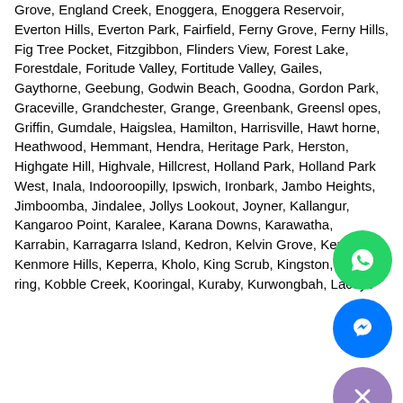Grove, England Creek, Enoggera, Enoggera Reservoir, Everton Hills, Everton Park, Fairfield, Ferny Grove, Ferny Hills, Fig Tree Pocket, Fitzgibbon, Flinders View, Forest Lake, Forestdale, Foritude Valley, Fortitude Valley, Gailes, Gaythorne, Geebung, Godwin Beach, Goodna, Gordon Park, Graceville, Grandchester, Grange, Greenbank, Greenslopes, Griffin, Gumdale, Haigslea, Hamilton, Harrisville, Hawthorne, Heathwood, Hemmant, Hendra, Heritage Park, Herston, Highgate Hill, Highvale, Hillcrest, Holland Park, Holland Park West, Inala, Indooroopilly, Ipswich, Ironbark, Jamboree Heights, Jimboomba, Jindalee, Jollys Lookout, Joyner, Kallangur, Kangaroo Point, Karalee, Karana Downs, Karawatha, Karrabin, Karragarra Island, Kedron, Kelvin Grove, Kenmore, Kenmore Hills, Keperra, Kholo, King Scrub, Kingston, Kippa-ring, Kobble Creek, Kooringal, Kuraby, Kurwongbah, Laceys
[Figure (illustration): WhatsApp contact button (green circle with phone/chat icon)]
[Figure (illustration): Facebook Messenger contact button (blue circle with messenger icon)]
[Figure (illustration): Close button (purple circle with X icon)]